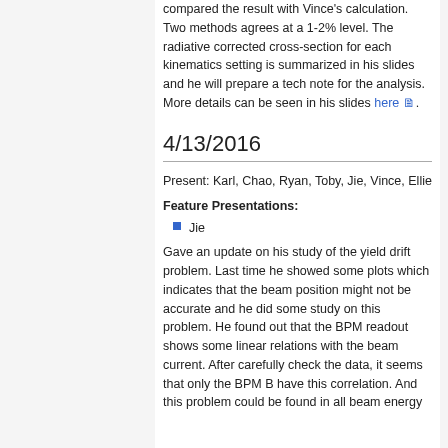compared the result with Vince's calculation. Two methods agrees at a 1-2% level. The radiative corrected cross-section for each kinematics setting is summarized in his slides and he will prepare a tech note for the analysis. More details can be seen in his slides here.
4/13/2016
Present: Karl, Chao, Ryan, Toby, Jie, Vince, Ellie
Feature Presentations:
Jie
Gave an update on his study of the yield drift problem. Last time he showed some plots which indicates that the beam position might not be accurate and he did some study on this problem. He found out that the BPM readout shows some linear relations with the beam current. After carefully check the data, it seems that only the BPM B have this correlation. And this problem could be found in all beam energy